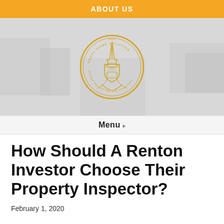ABOUT US
[Figure (logo): Angel Home Solution circular logo with Space Needle illustration and text 'ANGEL HOME SOLUTION - BETTER than BUYING Your House Fast!' in gold/yellow on a light gray background]
Menu ▾
How Should A Renton Investor Choose Their Property Inspector?
February 1, 2020